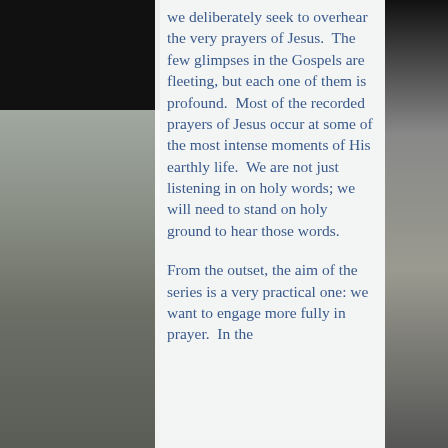we deliberately seek to overhear the very prayers of Jesus.  The few glimpses in the Gospels are fleeting, but each one of them is profound.  Most of the recorded prayers of Jesus occur at some of the most intense moments of His earthly life.  We are not just listening in on holy words; we will need to stand on holy ground to hear those words.
From the outset, the aim of the series is a very practical one: we want to engage more fully in prayer.  In the